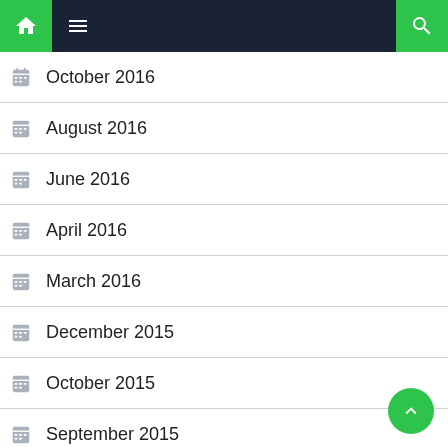Navigation bar with home, menu, and search icons
October 2016
August 2016
June 2016
April 2016
March 2016
December 2015
October 2015
September 2015
July 2015
June 2014